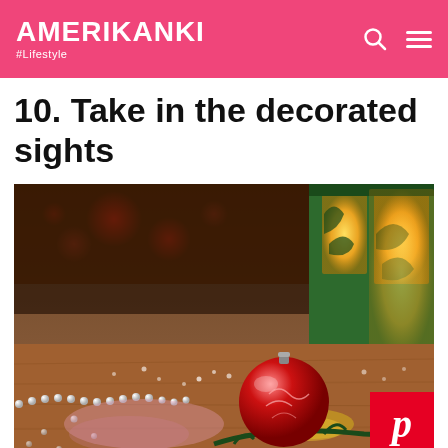AMERIKANKI #Lifestyle
10. Take in the decorated sights
[Figure (photo): Christmas decoration photo showing a red ornament ball with swirl pattern, pearl bead garland, gold glitter decorations, pine branch, and a green lantern with warm glowing light in the background with bokeh red lights]